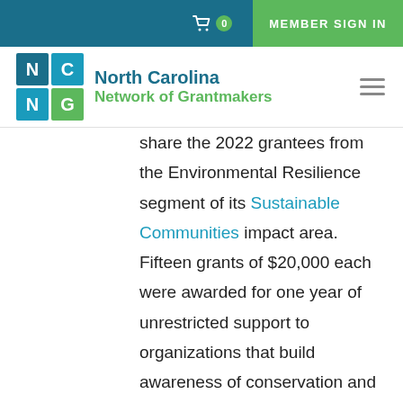Cart 0 | MEMBER SIGN IN
[Figure (logo): North Carolina Network of Grantmakers logo with NC/NG grid and text]
share the 2022 grantees from the Environmental Resilience segment of its Sustainable Communities impact area. Fifteen grants of $20,000 each were awarded for one year of unrestricted support to organizations that build awareness of conservation and climate issues and help communities adapt to climate change threats, particularly those communities that have endured chronic stressors